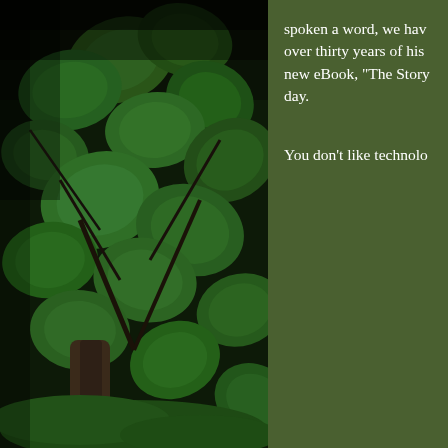[Figure (photo): Dark forest photo looking up through green maple leaves and tree branches against a dark background, with a tree trunk visible in the lower portion.]
spoken a word, we hav over thirty years of his new eBook, "The Story day.
You don't like technolo